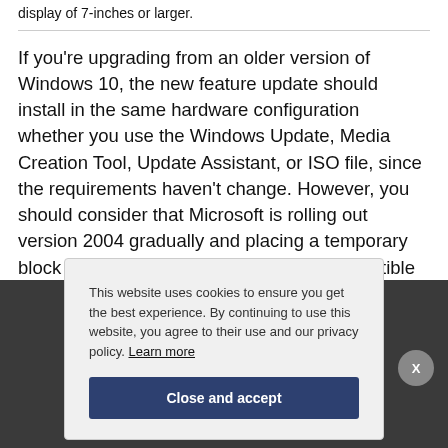display of 7-inches or larger.
If you’re upgrading from an older version of Windows 10, the new feature update should install in the same hardware configuration whether you use the Windows Update, Media Creation Tool, Update Assistant, or ISO file, since the requirements haven’t change. However, you should consider that Microsoft is rolling out version 2004 gradually and placing a temporary block on devices known not to be yet compatible due to known issues.
This website uses cookies to ensure you get the best experience. By continuing to use this website, you agree to their use and our privacy policy. Learn more
Close and accept